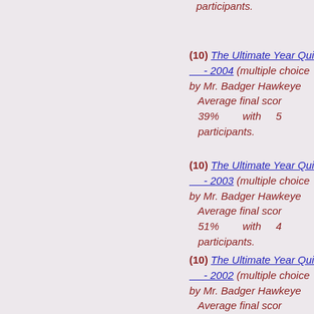participants.
(10) The Ultimate Year Quiz - 2004 (multiple choice) by Mr. Badger Hawkeye. Average final score 39% with 5 participants.
(10) The Ultimate Year Quiz - 2003 (multiple choice) by Mr. Badger Hawkeye. Average final score 51% with 4 participants.
(10) The Ultimate Year Quiz - 2002 (multiple choice) by Mr. Badger Hawkeye. Average final score 54% with 3 participants.